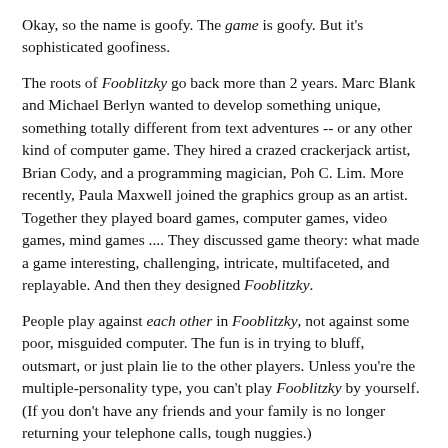Okay, so the name is goofy. The game is goofy. But it's sophisticated goofiness.
The roots of Fooblitzky go back more than 2 years. Marc Blank and Michael Berlyn wanted to develop something unique, something totally different from text adventures -- or any other kind of computer game. They hired a crazed crackerjack artist, Brian Cody, and a programming magician, Poh C. Lim. More recently, Paula Maxwell joined the graphics group as an artist. Together they played board games, computer games, video games, mind games .... They discussed game theory: what made a game interesting, challenging, intricate, multifaceted, and replayable. And then they designed Fooblitzky.
People play against each other in Fooblitzky, not against some poor, misguided computer. The fun is in trying to bluff, outsmart, or just plain lie to the other players. Unless you're the multiple-personality type, you can't play Fooblitzky by yourself. (If you don't have any friends and your family is no longer returning your telephone calls, tough nuggies.)
Fooblitzky is intellectually challenging, requiring a sharp mind, careful note-taking, and a penchant for chattering teeth and flipping hot dogs. It's not a shoot-em-up arcade-style game requiring joystick coordination, so even adults can play! A game session li...